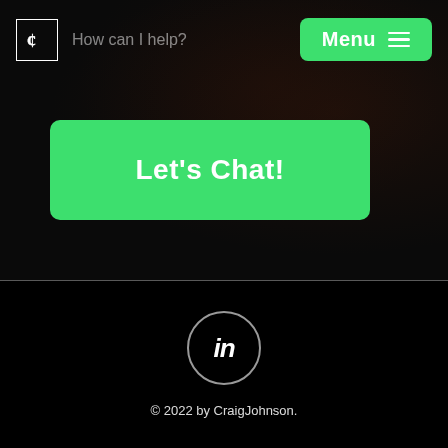[Figure (logo): Small square logo with stylized 'CJ' monogram in white outline on dark background]
How can I help?
[Figure (screenshot): Green Menu button with hamburger icon in top right corner]
[Figure (photo): Faint dark background photo visible on right side of top section]
Let's Chat!
[Figure (logo): LinkedIn 'in' icon inside a circle outline]
© 2022 by CraigJohnson.